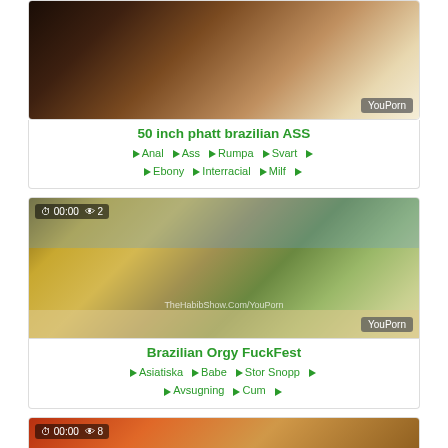[Figure (screenshot): Video thumbnail with YouPorn watermark showing adult content, partially visible at top]
50 inch phatt brazilian ASS
Anal  Ass  Rumpa  Svart  Ebony  Interracial  Milf
[Figure (screenshot): Video thumbnail showing beach scene with 00:00 timer and 2 views, YouPorn watermark, TheHabibShow.Com/YouPorn text]
Brazilian Orgy FuckFest
Asiatiska  Babe  Stor Snopp  Avsugning  Cum
[Figure (screenshot): Partially visible video thumbnail with 00:00 timer and 8 views at bottom of page]